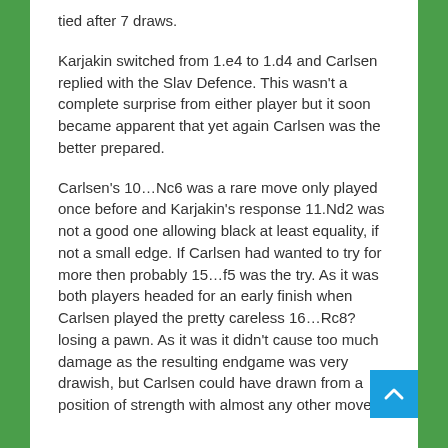tied after 7 draws.
Karjakin switched from 1.e4 to 1.d4 and Carlsen replied with the Slav Defence. This wasn't a complete surprise from either player but it soon became apparent that yet again Carlsen was the better prepared.
Carlsen's 10…Nc6 was a rare move only played once before and Karjakin's response 11.Nd2 was not a good one allowing black at least equality, if not a small edge. If Carlsen had wanted to try for more then probably 15…f5 was the try. As it was both players headed for an early finish when Carlsen played the pretty careless 16…Rc8? losing a pawn. As it was it didn't cause too much damage as the resulting endgame was very drawish, but Carlsen could have drawn from a position of strength with almost any other move. 19...Rff...